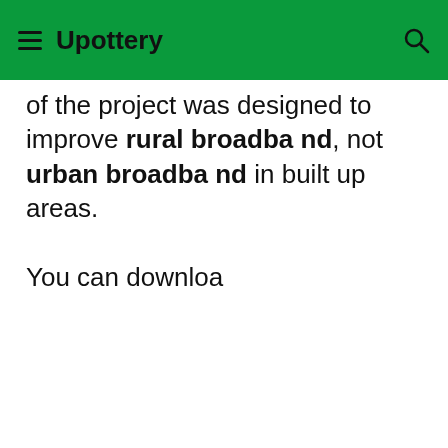Upottery
of the project was designed to improve rural broadband, not urban broadband in built up areas.

You can downloa